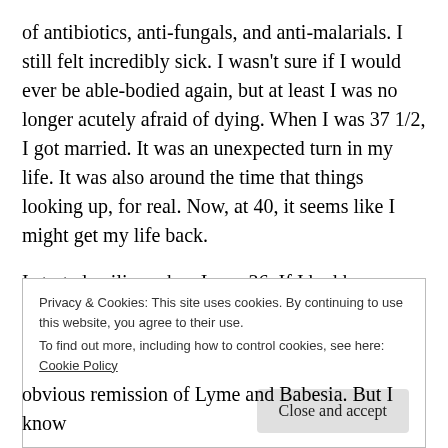of antibiotics, anti-fungals, and anti-malarials. I still felt incredibly sick. I wasn't sure if I would ever be able-bodied again, but at least I was no longer acutely afraid of dying. When I was 37 1/2, I got married. It was an unexpected turn in my life. It was also around the time that things looking up, for real. Now, at 40, it seems like I might get my life back.
I started coiling when I was 36. If I had known what it would be like, I would have started much sooner. I don't think that coiling has fixed everything. It might still fix quite a few more of the physical problems I
Privacy & Cookies: This site uses cookies. By continuing to use this website, you agree to their use.
To find out more, including how to control cookies, see here: Cookie Policy
Close and accept
obvious remission of Lyme and Babesia. But I know